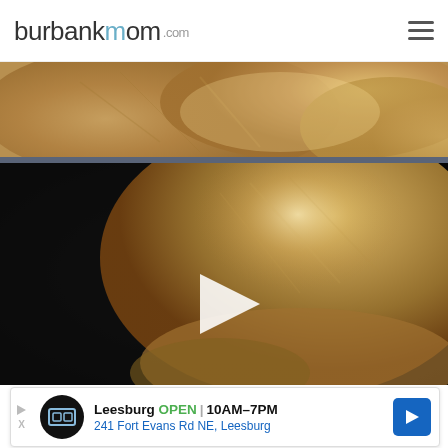burbankmom.com
[Figure (photo): Close-up photo of a golden/yellow dog, partial view showing fur, against dark background with a video play button overlay]
[Figure (infographic): Advertisement banner for Leesburg business showing logo, OPEN 10AM-7PM, 241 Fort Evans Rd NE Leesburg, with navigation arrow icon]